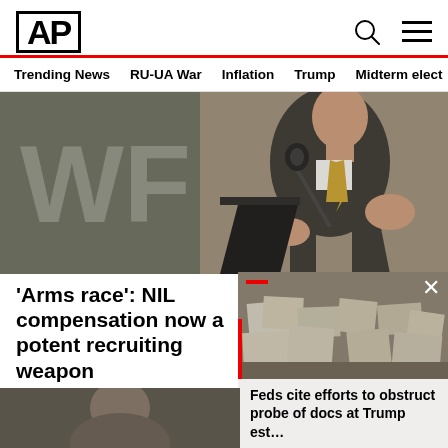AP
Trending News
RU-UA War
Inflation
Trump
Midterm elect
[Figure (photo): Man in dark suit speaking at podium with microphone, gold tie, gesture with hands, background shows large text 'WF']
'Arms race': NIL compensation now a potent recruiting weapon
W... Forest coach Dave Clawson reme... recruiting. "You used to talk ab...
AP  1 hour ago
[Figure (photo): Popup overlay showing documents/papers spread on table, with headline: Feds cite efforts to obstruct probe of docs at Trump est...]